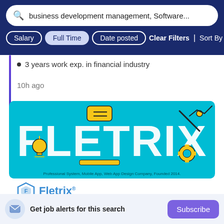business development management, Software...
Salary | Full Time | Date posted | Clear Filters | Sort By Rele...
3 years work exp. in financial industry
10h ago
[Figure (logo): Fletrix company banner with teal background and large white letters spelling FLETRIX with engineering/tech icons. Text at bottom: Professional System, Mobile App, Web App Design Company, Founded 2014.]
[Figure (logo): Fletrix logo: blue diamond shape icon with Fletrix text in blue]
Get job alerts for this search
Subscribe